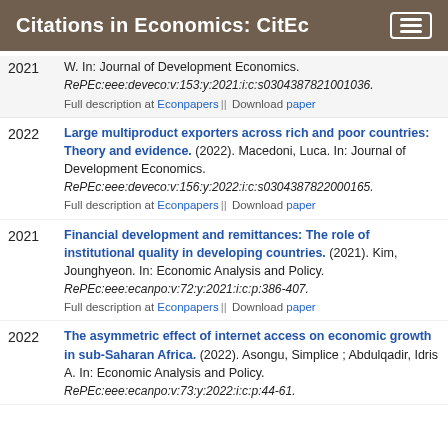Citations in Economics: CitEc
2021 — W. In: Journal of Development Economics. RePEc:eee:deveco:v:153:y:2021:i:c:s03043887821001036. Full description at Econpapers || Download paper
Large multiproduct exporters across rich and poor countries: Theory and evidence. (2022). Macedoni, Luca. In: Journal of Development Economics. RePEc:eee:deveco:v:156:y:2022:i:c:s03043887822000165. Full description at Econpapers || Download paper
Financial development and remittances: The role of institutional quality in developing countries. (2021). Kim, Jounghyeon. In: Economic Analysis and Policy. RePEc:eee:ecanpo:v:72:y:2021:i:c:p:386-407. Full description at Econpapers || Download paper
The asymmetric effect of internet access on economic growth in sub-Saharan Africa. (2022). Asongu, Simplice ; Abdulqadir, Idris A. In: Economic Analysis and Policy. RePEc:eee:ecanpo:v:73:y:2022:i:c:p:44-61.